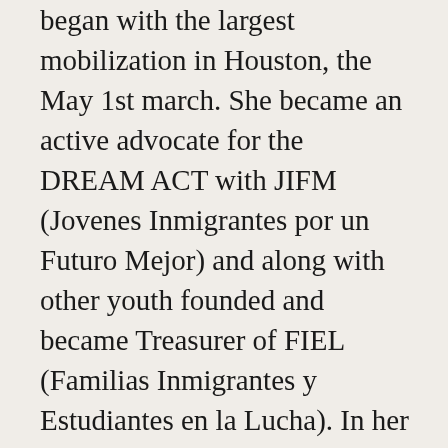began with the largest mobilization in Houston, the May 1st march. She became an active advocate for the DREAM ACT with JIFM (Jovenes Inmigrantes por un Futuro Mejor) and along with other youth founded and became Treasurer of FIEL (Familias Inmigrantes y Estudiantes en la Lucha). In her quest to be more inclusive of the greater immigrant community and uphold human rights and dignity for all immigrants, she began working as a Special Event Organizer for CRECEN and is currently the Associate Director of Houston's America For All. Dayana has received her BA in Psychology and Minor in Mexican American studies from the University of Houston and later went on to receive her